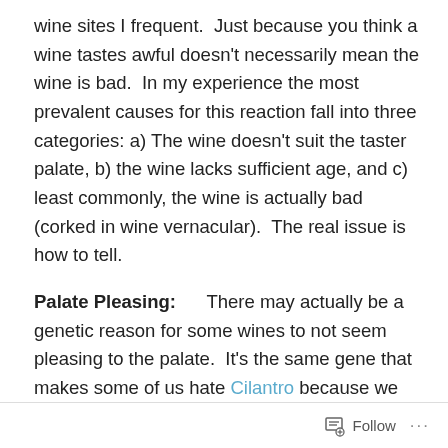wine sites I frequent.  Just because you think a wine tastes awful doesn't necessarily mean the wine is bad.  In my experience the most prevalent causes for this reaction fall into three categories: a) The wine doesn't suit the taster palate, b) the wine lacks sufficient age, and c) least commonly, the wine is actually bad (corked in wine vernacular).  The real issue is how to tell.
Palate Pleasing:      There may actually be a genetic reason for some wines to not seem pleasing to the palate.  It's the same gene that makes some of us hate Cilantro because we find it bitter, while others just love the flavor.  In addition drinking dry (not fruit forward or sweet) wines is actually an acquired tastes, that requires patience, tolerance and persistence.  Seriously, I know very few
Follow ···